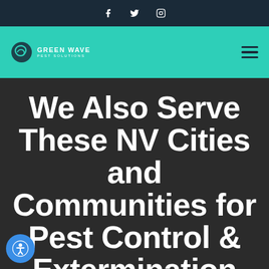f  𝕏  ⊙
[Figure (logo): Green Wave Pest Solutions logo with circular wave icon, white text on teal background]
We Also Serve These NV Cities and Communities for Pest Control & Extermination